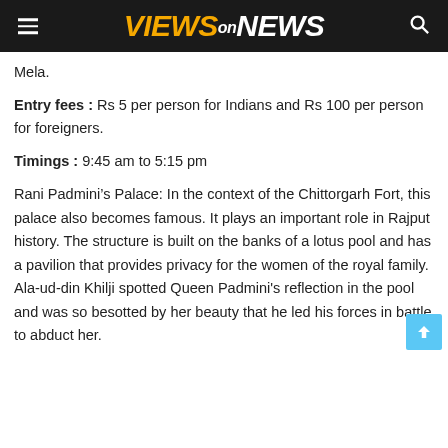VIEWS ON NEWS
Mela.
Entry fees : Rs 5 per person for Indians and Rs 100 per person for foreigners.
Timings : 9:45 am to 5:15 pm
Rani Padmini’s Palace: In the context of the Chittorgarh Fort, this palace also becomes famous. It plays an important role in Rajput history. The structure is built on the banks of a lotus pool and has a pavilion that provides privacy for the women of the royal family. Ala-ud-din Khilji spotted Queen Padmini's reflection in the pool and was so besotted by her beauty that he led his forces in battle to abduct her.